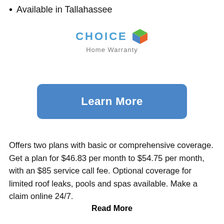Available in Tallahassee
[Figure (logo): Choice Home Warranty logo with colorful cube icon]
Learn More
Offers two plans with basic or comprehensive coverage. Get a plan for $46.83 per month to $54.75 per month, with an $85 service call fee. Optional coverage for limited roof leaks, pools and spas available. Make a claim online 24/7.
Read More